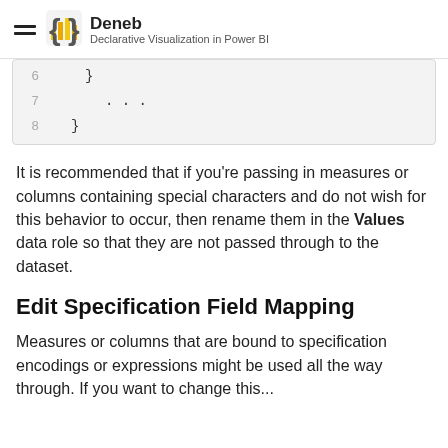Deneb — Declarative Visualization in Power BI
[Figure (screenshot): Code block showing lines 6-8: line 6 has closing brace '}', line 7 has '...', line 8 has closing brace '}']
It is recommended that if you're passing in measures or columns containing special characters and do not wish for this behavior to occur, then rename them in the Values data role so that they are not passed through to the dataset.
Edit Specification Field Mapping
Measures or columns that are bound to specification encodings or expressions might be used all the way through. If you want to change this...